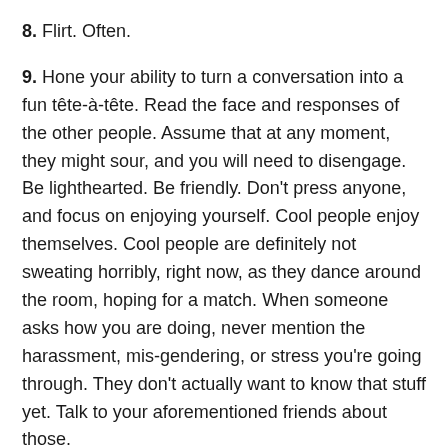8. Flirt. Often.
9. Hone your ability to turn a conversation into a fun tête-à-tête. Read the face and responses of the other people. Assume that at any moment, they might sour, and you will need to disengage. Be lighthearted. Be friendly. Don't press anyone, and focus on enjoying yourself. Cool people enjoy themselves. Cool people are definitely not sweating horribly, right now, as they dance around the room, hoping for a match. When someone asks how you are doing, never mention the harassment, mis-gendering, or stress you're going through. They don't actually want to know that stuff yet. Talk to your aforementioned friends about those.
10. Hear, “wow, you’re tall,” at most of these events. Kiss a few people, gently. Brace yourself for the inevitable pre-hookup question or revelation about your body or identity. Practice explaining why “biological woman” is ridiculous. Use lines like “Of course I’m a biological woman, and not a